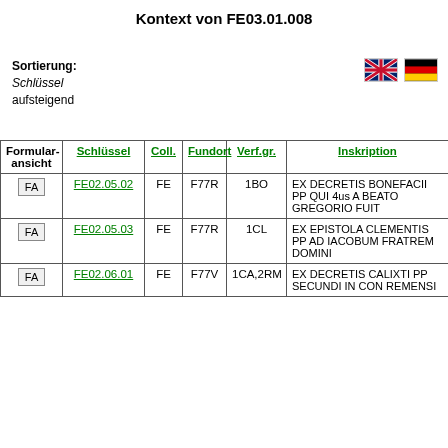Kontext von FE03.01.008
Sortierung:
Schlüssel
aufsteigend
| Formular-
ansicht | Schlüssel | Coll. | Fundort | Verf.gr. | Inskription |
| --- | --- | --- | --- | --- | --- |
| FA | FE02.05.02 | FE | F77R | 1BO | EX DECRETIS BONEFACII PP QUI 4us A BEATO GREGORIO FUIT |
| FA | FE02.05.03 | FE | F77R | 1CL | EX EPISTOLA CLEMENTIS PP AD IACOBUM FRATREM DOMINI |
| FA | FE02.06.01 | FE | F77V | 1CA,2RM | EX DECRETIS CALIXTI PP SECUNDI IN CON REMENSI |